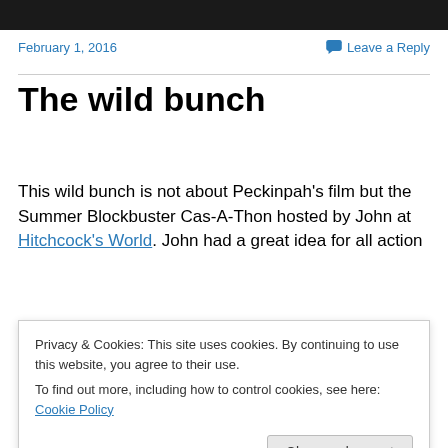[Figure (screenshot): Dark top navigation bar]
February 1, 2016
Leave a Reply
The wild bunch
This wild bunch is not about Peckinpah's film but the Summer Blockbuster Cas-A-Thon hosted by John at Hitchcock's World. John had a great idea for all action
Privacy & Cookies: This site uses cookies. By continuing to use this website, you agree to their use.
To find out more, including how to control cookies, see here: Cookie Policy
torn location and now he has been kidnapped by Neo-Nazi